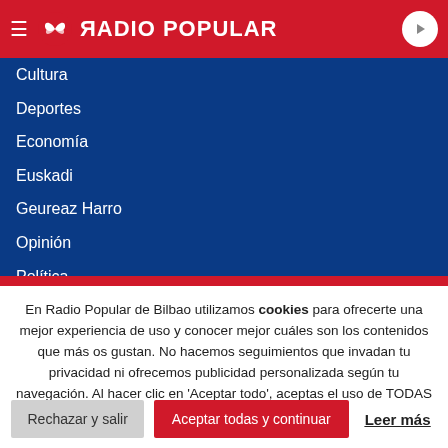RADIO POPULAR
Cultura
Deportes
Economía
Euskadi
Geureaz Harro
Opinión
Política
Social y religión
Sociedad
Tecnología
En Radio Popular de Bilbao utilizamos cookies para ofrecerte una mejor experiencia de uso y conocer mejor cuáles son los contenidos que más os gustan. No hacemos seguimientos que invadan tu privacidad ni ofrecemos publicidad personalizada según tu navegación. Al hacer clic en 'Aceptar todo', aceptas el uso de TODAS las cookies.
Rechazar y salir | Aceptar todas y continuar | Leer más